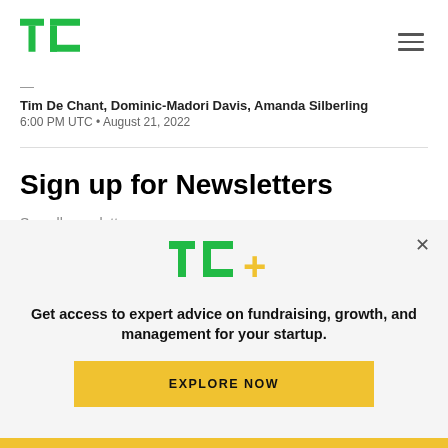TechCrunch logo and navigation
Tim De Chant, Dominic-Madori Davis, Amanda Silberling
6:00 PM UTC • August 21, 2022
Sign up for Newsletters
See all newsletters
[Figure (infographic): TechCrunch TC+ promotional modal with logo, text about expert advice on fundraising, growth, and management for startups, and an Explore Now button]
Get access to expert advice on fundraising, growth, and management for your startup.
EXPLORE NOW